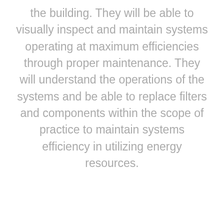the building. They will be able to visually inspect and maintain systems operating at maximum efficiencies through proper maintenance. They will understand the operations of the systems and be able to replace filters and components within the scope of practice to maintain systems efficiency in utilizing energy resources.